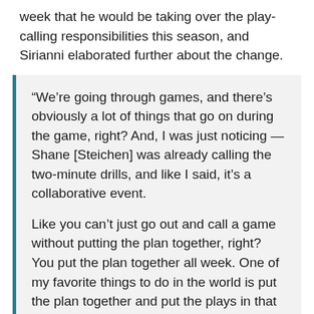week that he would be taking over the play-calling responsibilities this season, and Sirianni elaborated further about the change.
“We’re going through games, and there’s obviously a lot of things that go on during the game, right? And, I was just noticing — Shane [Steichen] was already calling the two-minute drills, and like I said, it’s a collaborative event.

Like you can’t just go out and call a game without putting the plan together, right? You put the plan together all week. One of my favorite things to do in the world is put the plan together and put the plays in that you think are going to work against the defense. That’s like one of my favorite things to do in the world. So, we’re continuing to do that.